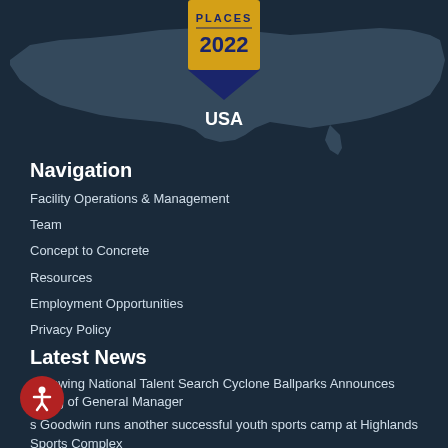[Figure (infographic): USA map silhouette in dark gray with a badge/ribbon in the center top showing 'PLACES 2022 USA' in gold and navy colors]
Navigation
Facility Operations & Management
Team
Concept to Concrete
Resources
Employment Opportunities
Privacy Policy
Latest News
Following National Talent Search Cyclone Ballparks Announces Hiring of General Manager
s Goodwin runs another successful youth sports camp at Highlands Sports Complex